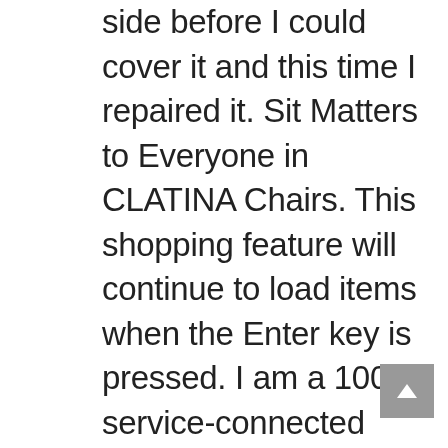side before I could cover it and this time I repaired it. Sit Matters to Everyone in CLATINA Chairs. This shopping feature will continue to load items when the Enter key is pressed. I am a 100% service-connected disabled veteran and would have had to hire a separate crew from town to set it up therefore, the additional $20 in price is well worth it to have a sense of security about delivery and set up. Motion Essentials Actual product appearance and functionality may vary from photographs, illustrations and